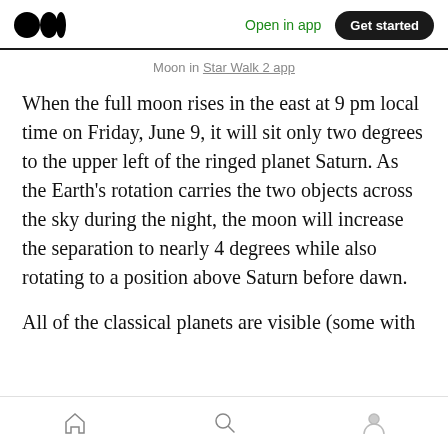Open in app  Get started
Moon in Star Walk 2 app
When the full moon rises in the east at 9 pm local time on Friday, June 9, it will sit only two degrees to the upper left of the ringed planet Saturn. As the Earth's rotation carries the two objects across the sky during the night, the moon will increase the separation to nearly 4 degrees while also rotating to a position above Saturn before dawn.
All of the classical planets are visible (some with
Home  Search  Profile